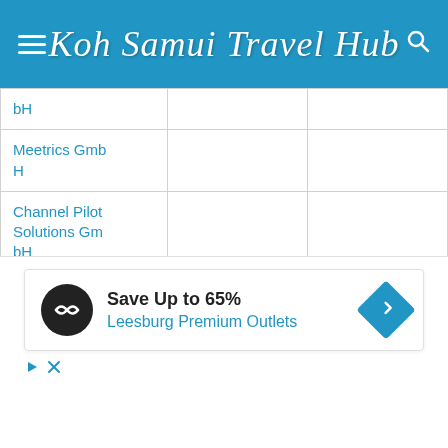Koh Samui Travel Hub
|  |  |  |
| --- | --- | --- |
| bH |  |  |
| Meetrics GmbH |  |  |
| Channel Pilot Solutions GmbH |  |  |
| Advisible AB |  |  |
| Blue Media Services LTDA |  |  |
| video intelligence AG |  |  |
[Figure (infographic): Advertisement banner: Save Up to 65% Leesburg Premium Outlets]